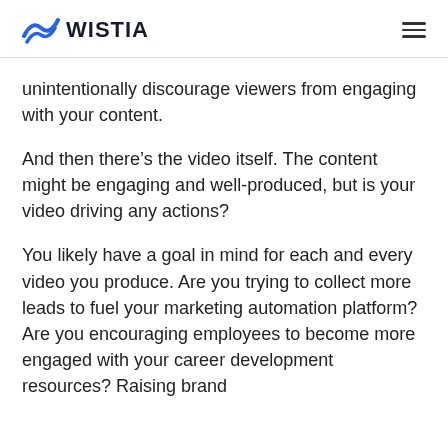WISTIA
unintentionally discourage viewers from engaging with your content.
And then there’s the video itself. The content might be engaging and well-produced, but is your video driving any actions?
You likely have a goal in mind for each and every video you produce. Are you trying to collect more leads to fuel your marketing automation platform? Are you encouraging employees to become more engaged with your career development resources? Raising brand